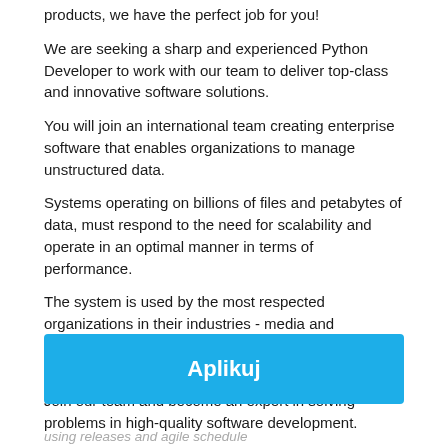products, we have the perfect job for you!
We are seeking a sharp and experienced Python Developer to work with our team to deliver top-class and innovative software solutions.
You will join an international team creating enterprise software that enables organizations to manage unstructured data.
Systems operating on billions of files and petabytes of data, must respond to the need for scalability and operate in an optimal manner in terms of performance.
The system is used by the most respected organizations in their industries - media and entertainment, research computing, higher education, and the USA Federal government.
Join our team and become an expert in solving problems in high-quality software development.
Aplikuj
using releases and agile schedule